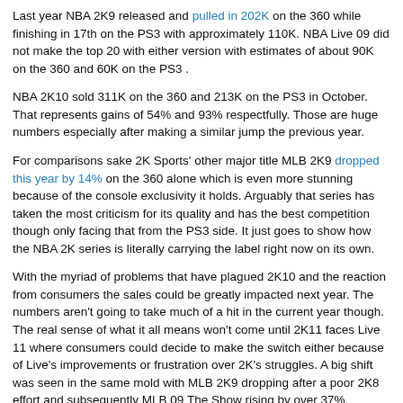Last year NBA 2K9 released and pulled in 202K on the 360 while finishing in 17th on the PS3 with approximately 110K. NBA Live 09 did not make the top 20 with either version with estimates of about 90K on the 360 and 60K on the PS3 .
NBA 2K10 sold 311K on the 360 and 213K on the PS3 in October. That represents gains of 54% and 93% respectfully. Those are huge numbers especially after making a similar jump the previous year.
For comparisons sake 2K Sports' other major title MLB 2K9 dropped this year by 14% on the 360 alone which is even more stunning because of the console exclusivity it holds. Arguably that series has taken the most criticism for its quality and has the best competition though only facing that from the PS3 side. It just goes to show how the NBA 2K series is literally carrying the label right now on its own.
With the myriad of problems that have plagued 2K10 and the reaction from consumers the sales could be greatly impacted next year. The numbers aren't going to take much of a hit in the current year though. The real sense of what it all means won't come until 2K11 faces Live 11 where consumers could decide to make the switch either because of Live's improvements or frustration over 2K's struggles. A big shift was seen in the same mold with MLB 2K9 dropping after a poor 2K8 effort and subsequently MLB 09 The Show rising by over 37%.
As to NBA Live 10 will be next on its schedule but its too soon for the fi...